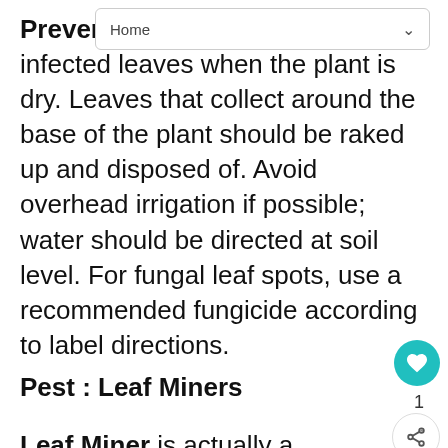Home
Prevention and Control: Remove infected leaves when the plant is dry. Leaves that collect around the base of the plant should be raked up and disposed of. Avoid overhead irrigation if possible; water should be directed at soil level. For fungal leaf spots, use a recommended fungicide according to label directions.
Pest : Leaf Miners
Leaf Miner is actually a term that applies to various larvae (of moths, beetles, and flies) that tunnel between upper and lower leaf